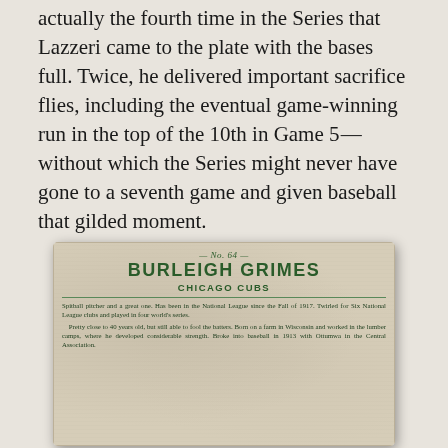actually the fourth time in the Series that Lazzeri came to the plate with the bases full. Twice, he delivered important sacrifice flies, including the eventual game-winning run in the top of the 10th in Game 5—without which the Series might never have gone to a seventh game and given baseball that gilded moment.
[Figure (photo): Back of a vintage baseball card No. 64 for Burleigh Grimes, Chicago Cubs. Green text on aged cream/tan card stock. Card reads: '— No. 64 — BURLEIGH GRIMES CHICAGO CUBS. Spitball pitcher and a great one. Has been in the National League since the Fall of 1917. Twirled for Six National League clubs and played in four world's series. Pretty close to 40 years old, but still able to fool the batters. Born on a farm in Wisconsin and worked in the lumber camps, where he developed considerable strength. Broke into baseball in 1913 with Ottumwa in the Central Association.']